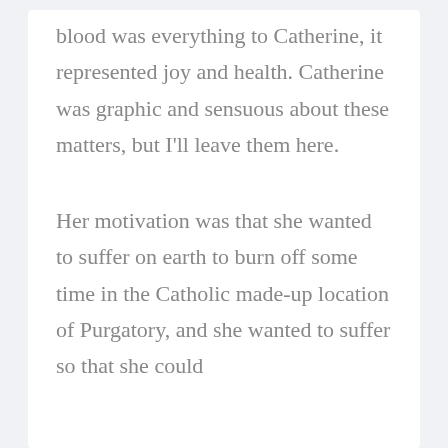blood was everything to Catherine, it represented joy and health. Catherine was graphic and sensuous about these matters, but I'll leave them here.
Her motivation was that she wanted to suffer on earth to burn off some time in the Catholic made-up location of Purgatory, and she wanted to suffer so that she could